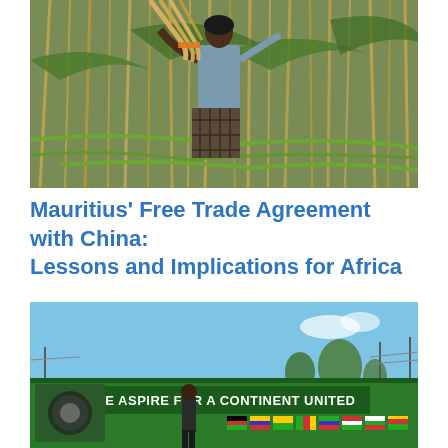[Figure (photo): A person harvesting sugarcane in a field, surrounded by tall green and golden cane stalks]
Mauritius' Free Trade Agreement with China: Lessons and Implications for Africa
[Figure (photo): A billboard reading 'WE ASPIRE FOR A CONTINENT UNITED' with African national flags displayed on it, set against a blue sky with trees and urban infrastructure in the background. A person stands in front of the billboard.]